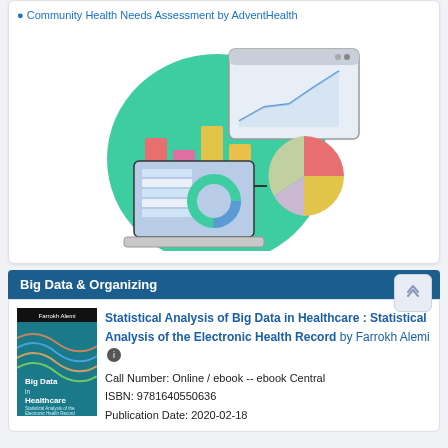Community Health Needs Assessment by AdventHealth
[Figure (illustration): Colorful data analytics illustration showing bar charts on a green circle background, a line chart in a browser window, a pie chart, and a laptop with a table/donut chart — representing data visualization concepts.]
Big Data & Organizing
[Figure (photo): Book cover of 'Big Data in Healthcare: Statistical Analysis of the Electronic Health Record' by Farrokh Alemi, with colorful wave lines on a teal background.]
Statistical Analysis of Big Data in Healthcare : Statistical Analysis of the Electronic Health Record by Farrokh Alemi
Call Number: Online / ebook -- ebook Central
ISBN: 9781640550636
Publication Date: 2020-02-18